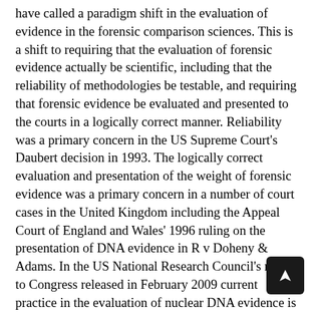have called a paradigm shift in the evaluation of evidence in the forensic comparison sciences. This is a shift to requiring that the evaluation of forensic evidence actually be scientific, including that the reliability of methodologies be testable, and requiring that forensic evidence be evaluated and presented to the courts in a logically correct manner. Reliability was a primary concern in the US Supreme Court's Daubert decision in 1993. The logically correct evaluation and presentation of the weight of forensic evidence was a primary concern in a number of court cases in the United Kingdom including the Appeal Court of England and Wales' 1996 ruling on the presentation of DNA evidence in R v Doheny & Adams. In the US National Research Council's report to Congress released in February 2009 current practice in the evaluation of nuclear DNA evidence is held up as a model to emulate, and current practice in other branches of forensic science are subject sometimes severe criticism. In the present paper I examine the place of forensic science comparison in the